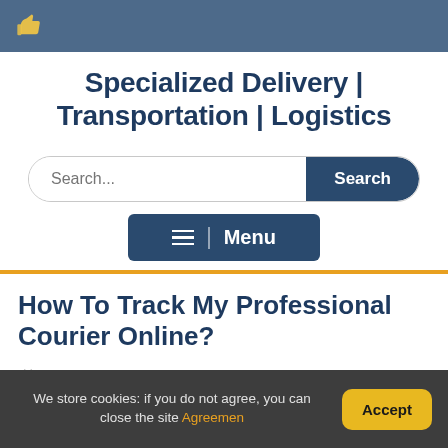Specialized Delivery | Transportation | Logistics
[Figure (other): Search bar with text input and Search button]
[Figure (other): Menu navigation button with hamburger icon and Menu text]
How To Track My Professional Courier Online?
William Barton
We store cookies: if you do not agree, you can close the site Agreement